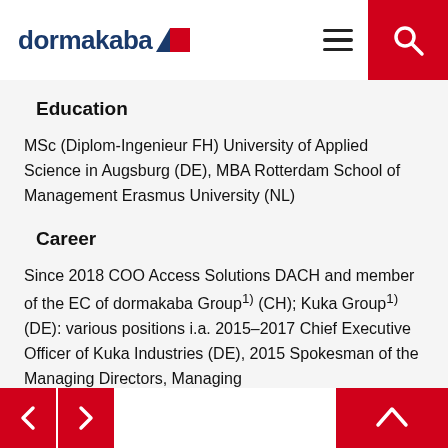dormakaba [logo]
Education
MSc (Diplom-Ingenieur FH) University of Applied Science in Augsburg (DE), MBA Rotterdam School of Management Erasmus University (NL)
Career
Since 2018 COO Access Solutions DACH and member of the EC of dormakaba Group1) (CH); Kuka Group1) (DE): various positions i.a. 2015–2017 Chief Executive Officer of Kuka Industries (DE), 2015 Spokesman of the Managing Directors, Managing
< > [navigation arrows] ^ [up arrow]